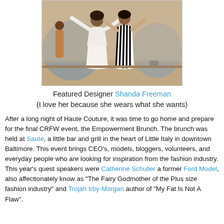[Figure (photo): Fashion show photo showing models/designers on stage, one in white flowing outfit and one in black and white striped dress, with blue stage lighting in background]
Featured Designer Shanda Freeman
(I love her because she wears what she wants)
After a long night of Haute Couture, it was time to go home and prepare for the final CRFW event, the Empowerment Brunch. The brunch was held at Saute, a little bar and grill in the heart of Little Italy in downtown Baltimore. This event brings CEO's, models, bloggers, volunteers, and everyday people who are looking for inspiration from the fashion industry. This year's quest speakers were Catherine Schuller a former Ford Model, also affectionately know as "The Fairy Godmother of the Plus size fashion industry" and Trojah Irby-Morgan author of "My Fat Is Not A Flaw".